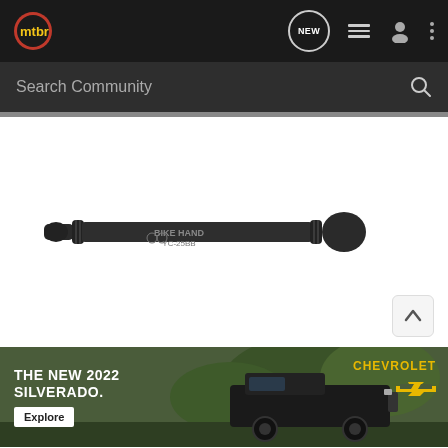mtbr navigation bar with logo, NEW chat bubble, list icon, user icon, and more options icon
Search Community
[Figure (photo): Black cylindrical bicycle bottom bracket tool labeled BIKE HAND YC-25BB on white background]
[Figure (photo): Advertisement banner for The New 2022 Silverado by Chevrolet with truck image and Explore button]